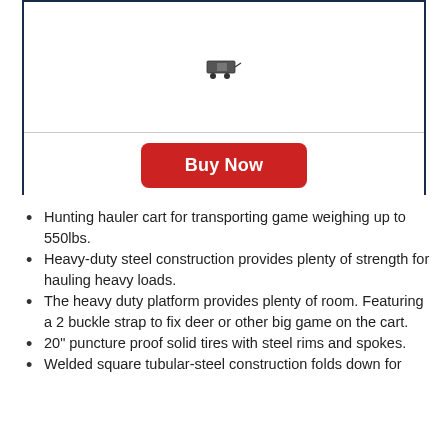[Figure (photo): Product image area with a small hunting cart icon at the top, partially visible]
Buy Now
Hunting hauler cart for transporting game weighing up to 550lbs.
Heavy-duty steel construction provides plenty of strength for hauling heavy loads.
The heavy duty platform provides plenty of room. Featuring a 2 buckle strap to fix deer or other big game on the cart.
20" puncture proof solid tires with steel rims and spokes.
Welded square tubular-steel construction folds down for